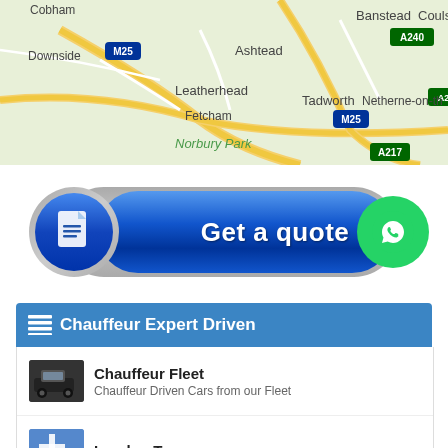[Figure (map): Google map showing area around Leatherhead, Fetcham, Ashtead, Tadworth, Norbury Park, Banstead, M25, A240, A23, A217 road signs]
[Figure (infographic): Blue pill-shaped 'Get a quote' button with document icon circle on left and WhatsApp green circle on right]
Chauffeur Expert Driven
Chauffeur Fleet
Chauffeur Driven Cars from our Fleet
London Tours